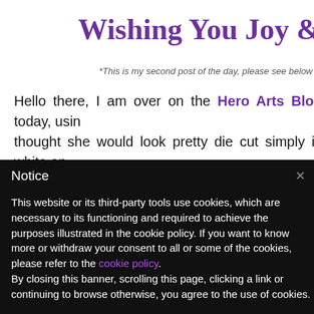Wishing You Joy &
*This is my second post of the day, please see below
Hello there, I am over on the Hero Arts Blog today, using thought she would look pretty die cut simply in white on create an alcohol ink type look but using watercolours.
Notice
This website or its third-party tools use cookies, which are necessary to its functioning and required to achieve the purposes illustrated in the cookie policy. If you want to know more or withdraw your consent to all or some of the cookies, please refer to the cookie policy.
By closing this banner, scrolling this page, clicking a link or continuing to browse otherwise, you agree to the use of cookies.